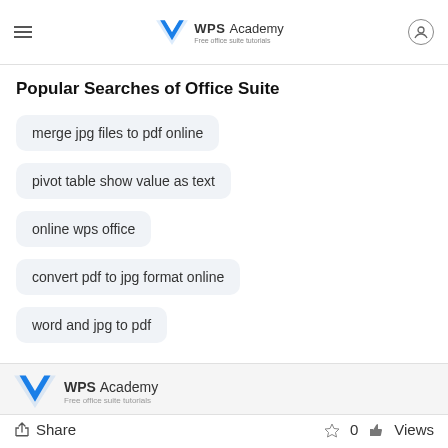WPS Academy – Free office suite tutorials
Popular Searches of Office Suite
merge jpg files to pdf online
pivot table show value as text
online wps office
convert pdf to jpg format online
word and jpg to pdf
WPS Academy – Free office suite tutorials | Share | 0 | Views